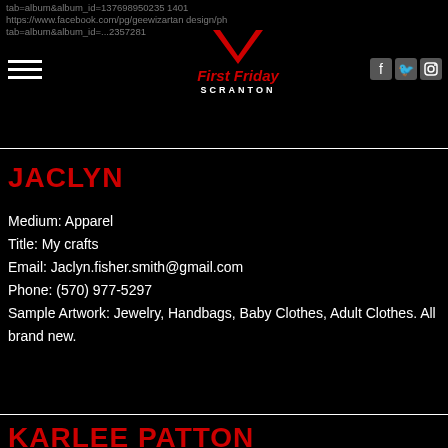tab=album&album_id=137698950235140​1
https://www.facebook.com/pg/geewizartanddesign/ph tab=album&album_id=...2357281
[Figure (logo): First Friday Scranton logo with red chevron/V shape above text 'First Friday' in red and 'SCRANTON' in white]
[Figure (infographic): Social media icons: Facebook, Twitter, Instagram]
JACLYN
Medium: Apparel
Title: My crafts
Email: Jaclyn.fisher.smith@gmail.com
Phone: (570) 977-5297
Sample Artwork: Jewelry, Handbags, Baby Clothes, Adult Clothes. All brand new.
KARLEE PATTON